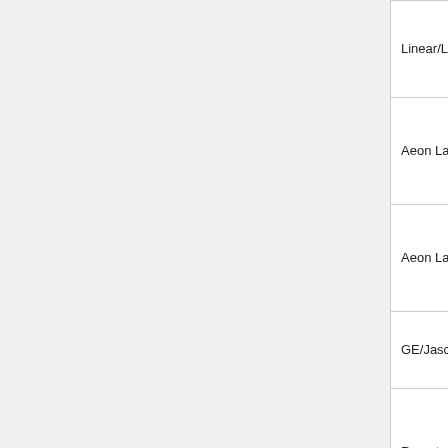| Manufacturer | Model | Description |
| --- | --- | --- |
| Linear/LinearLinc | Bulbz LB60Z | Dimm... LED b... |
| Aeon Labs | Door & Window Sensor - 2nd Edition | Door & Windo Sens... |
| Aeon Labs | Plug-in Smart Appliance Switch | Powe monit switch |
| GE/Jasco | ZW4001/45609LAB | In-wa on/off |
| Remotec | ZDS-200 | Selec plug-i dimm switch |
| Remotec | ZFM-X10 | Selec wall dimm switch |
| Remotec | ZRM-M80DE | Selec plug-i dimm |